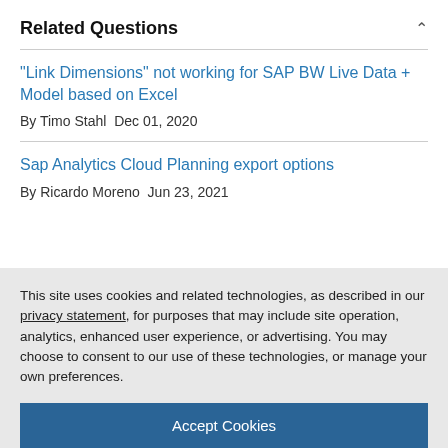Related Questions
"Link Dimensions" not working for SAP BW Live Data + Model based on Excel
By Timo Stahl  Dec 01, 2020
Sap Analytics Cloud Planning export options
By Ricardo Moreno  Jun 23, 2021
This site uses cookies and related technologies, as described in our privacy statement, for purposes that may include site operation, analytics, enhanced user experience, or advertising. You may choose to consent to our use of these technologies, or manage your own preferences.
Accept Cookies
More Information
Privacy Policy | Powered by: TrustArc
3 Comments